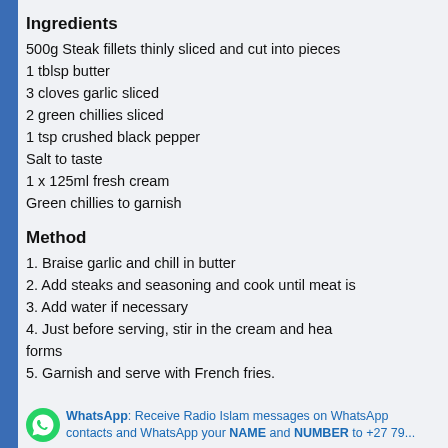Ingredients
500g Steak fillets thinly sliced and cut into pieces
1 tblsp butter
3 cloves garlic sliced
2 green chillies sliced
1 tsp crushed black pepper
Salt to taste
1 x 125ml fresh cream
Green chillies to garnish
Method
1. Braise garlic and chill in butter
2. Add steaks and seasoning and cook until meat is
3. Add water if necessary
4. Just before serving, stir in the cream and hea forms
5. Garnish and serve with French fries.
WhatsApp: Receive Radio Islam messages on WhatsApp contacts and WhatsApp your NAME and NUMBER to +27 79...